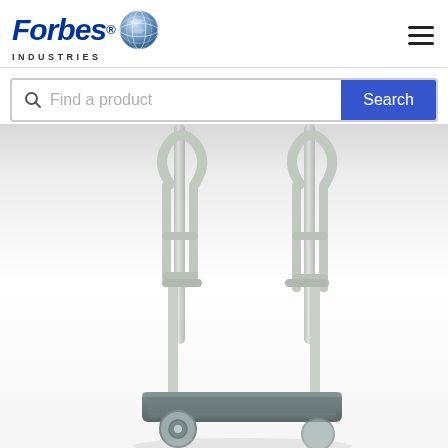[Figure (logo): Forbes Industries logo with globe graphic and company name]
[Figure (other): Hamburger menu icon (three horizontal lines) in top right corner]
[Figure (other): Search bar with magnifying glass icon, placeholder text 'Find a product', and blue 'Search' button]
[Figure (photo): Product photo of a hotel/bellman luggage cart with stainless steel tubing frame, two U-shaped handle bars, horizontal rungs, a rectangular platform with grey carpet, and a caster wheel visible at bottom left]